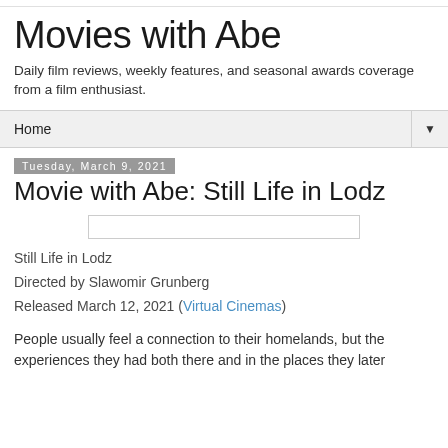Movies with Abe
Daily film reviews, weekly features, and seasonal awards coverage from a film enthusiast.
Home
Tuesday, March 9, 2021
Movie with Abe: Still Life in Lodz
[Figure (other): Placeholder image bar for Still Life in Lodz film]
Still Life in Lodz
Directed by Slawomir Grunberg
Released March 12, 2021 (Virtual Cinemas)
People usually feel a connection to their homelands, but the experiences they had both there and in the places they later